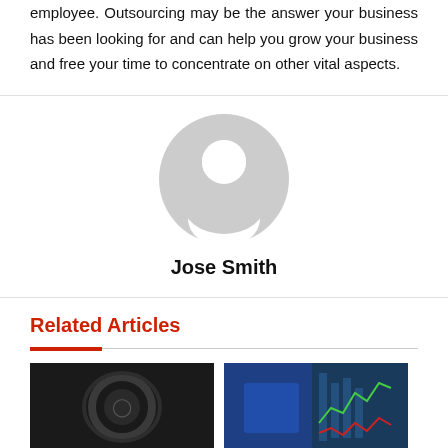employee. Outsourcing may be the answer your business has been looking for and can help you grow your business and free your time to concentrate on other vital aspects.
[Figure (illustration): Generic user avatar icon — gray circle with white silhouette of a person (head and shoulders)]
Jose Smith
Related Articles
[Figure (photo): Dark image showing a coin or cryptocurrency token with a dark background]
[Figure (photo): Image of a person in a blue jacket in front of a financial chart display with red and green candlestick chart lines]